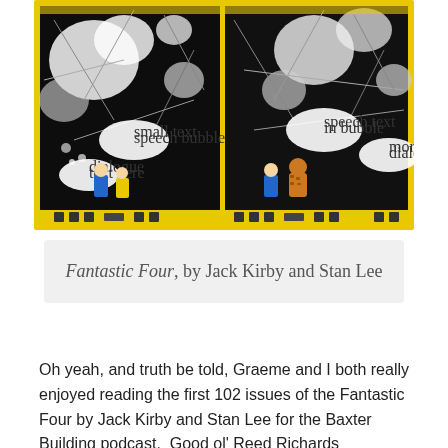[Figure (illustration): Comic book panel from Fantastic Four showing superheroes in a dramatic space scene with black and white cosmic imagery. Characters include Mr. Fantastic and The Thing in blue suits, and a figure in yellow. The panels have a yellow border and show characters with speech bubbles against a dark starfield and explosions.]
Fantastic Four, by Jack Kirby and Stan Lee
Oh yeah, and truth be told, Graeme and I both really enjoyed reading the first 102 issues of the Fantastic Four by Jack Kirby and Stan Lee for the Baxter Building podcast.  Good ol' Reed Richards